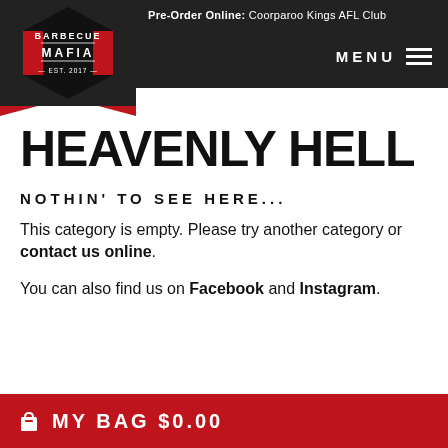Pre-Order Online: Coorparoo Kings AFL Club | MENU
[Figure (logo): Barbecue Mafia hexagon logo in black and red]
HEAVENLY HELL
NOTHIN' TO SEE HERE...
This category is empty. Please try another category or contact us online.
You can also find us on Facebook and Instagram.
MY BAG $0.00